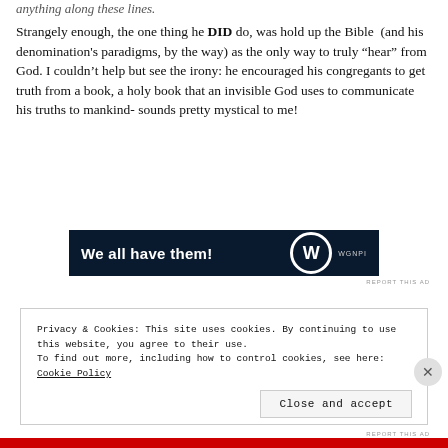anything along these lines.
Strangely enough, the one thing he DID do, was hold up the Bible (and his denomination's paradigms, by the way) as the only way to truly “hear” from God. I couldn’t help but see the irony: he encouraged his congregants to get truth from a book, a holy book that an invisible God uses to communicate his truths to mankind- sounds pretty mystical to me!
[Figure (other): Advertisement banner with text 'We all have them!' and a W logo on dark navy background]
REPORT THIS AD
Privacy & Cookies: This site uses cookies. By continuing to use this website, you agree to their use.
To find out more, including how to control cookies, see here: Cookie Policy
Close and accept